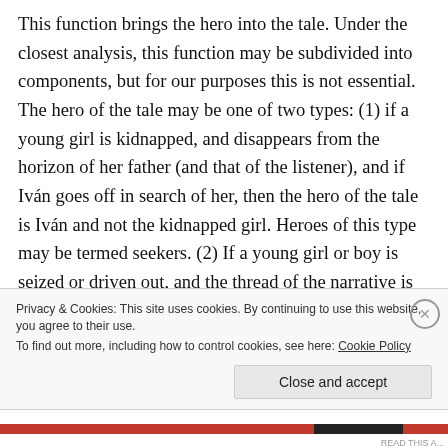This function brings the hero into the tale. Under the closest analysis, this function may be subdivided into components, but for our purposes this is not essential. The hero of the tale may be one of two types: (1) if a young girl is kidnapped, and disappears from the horizon of her father (and that of the listener), and if Iván goes off in search of her, then the hero of the tale is Iván and not the kidnapped girl. Heroes of this type may be termed seekers. (2) If a young girl or boy is seized or driven out, and the thread of the narrative is linked to his or her fate and not to those who remain behind, then the hero of the
Privacy & Cookies: This site uses cookies. By continuing to use this website, you agree to their use.
To find out more, including how to control cookies, see here: Cookie Policy
Close and accept